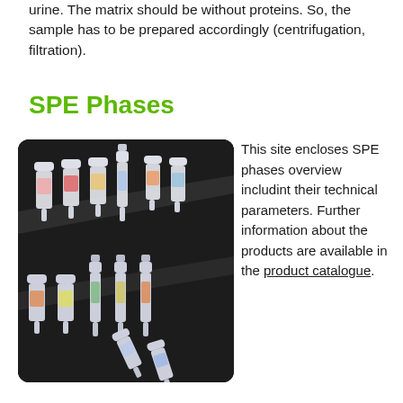urine. The matrix should be without proteins. So, the sample has to be prepared accordingly (centrifugation, filtration).
SPE Phases
[Figure (photo): Photo of multiple SPE (Solid Phase Extraction) cartridges/columns arranged on a dark background. Various sizes and colors of labels visible on the semi-transparent plastic cartridges.]
This site encloses SPE phases overview includint their technical parameters. Further information about the products are available in the product catalogue.